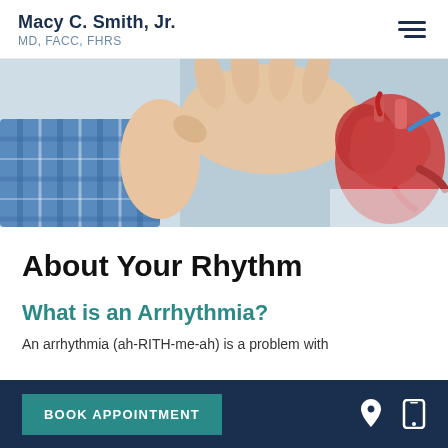Macy C. Smith, Jr. MD, FACC, FHRS
[Figure (photo): Close-up photo of a doctor in a blue checked shirt holding an anatomical heart model with an open hand gesture, blurred background]
About Your Rhythm
What is an Arrhythmia?
An arrhythmia (ah-RITH-me-ah) is a problem with
BOOK APPOINTMENT